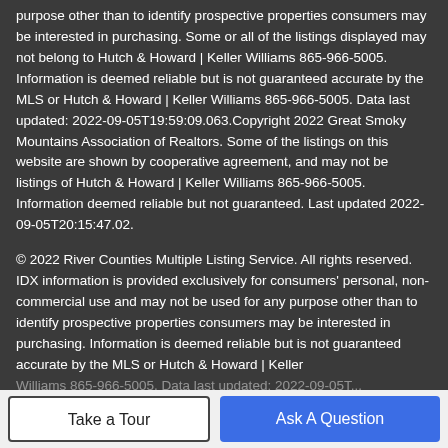purpose other than to identify prospective properties consumers may be interested in purchasing. Some or all of the listings displayed may not belong to Hutch & Howard | Keller Williams 865-966-5005. Information is deemed reliable but is not guaranteed accurate by the MLS or Hutch & Howard | Keller Williams 865-966-5005. Data last updated: 2022-09-05T19:59:09.063.Copyright 2022 Great Smoky Mountains Association of Realtors. Some of the listings on this website are shown by cooperative agreement, and may not be listings of Hutch & Howard | Keller Williams 865-966-5005. Information deemed reliable but not guaranteed. Last updated 2022-09-05T20:15:47.02.
© 2022 River Counties Multiple Listing Service. All rights reserved. IDX information is provided exclusively for consumers' personal, non-commercial use and may not be used for any purpose other than to identify prospective properties consumers may be interested in purchasing. Information is deemed reliable but is not guaranteed accurate by the MLS or Hutch & Howard | Keller Williams 865-966-5005. Data last updated: 2022-09-05T...
Take a Tour
Ask A Question